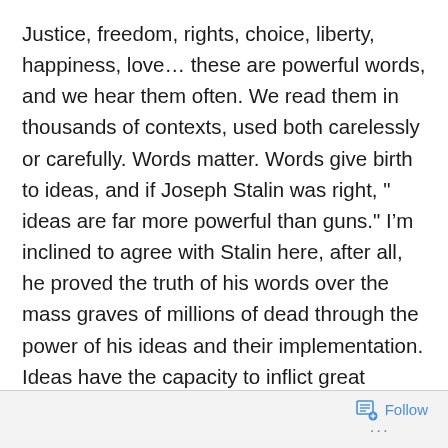Justice, freedom, rights, choice, liberty, happiness, love… these are powerful words, and we hear them often. We read them in thousands of contexts, used both carelessly or carefully. Words matter. Words give birth to ideas, and if Joseph Stalin was right, " ideas are far more powerful than guns." I'm inclined to agree with Stalin here, after all, he proved the truth of his words over the mass graves of millions of dead through the power of his ideas and their implementation. Ideas have the capacity to inflict great suffering, and it is through the meaning we infuse behind our words that we shape, and justify these ideas. I am willing to quarrel over words, after all, “why shouldn’t we quarrel about a word? What is the good of words if they aren’t important enough to quarrel over? Why do we
Follow ···